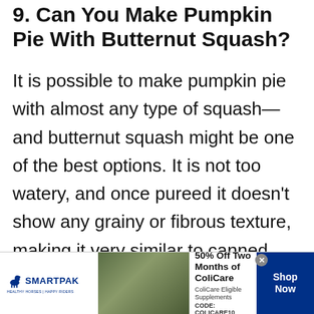9. Can You Make Pumpkin Pie With Butternut Squash?
It is possible to make pumpkin pie with almost any type of squash—and butternut squash might be one of the best options. It is not too watery, and once pureed it doesn't show any grainy or fibrous texture, making it very similar to canned pumpkin puree.
[Figure (screenshot): SmartPak advertisement banner: 50% Off Two Months of ColiCare, ColiCare Eligible Supplements, CODE: COLICARE10, with Shop Now button]